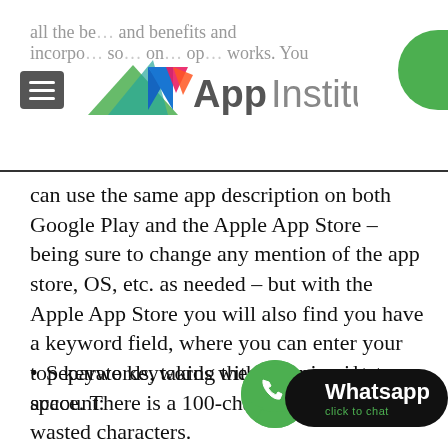AppInstitute
can use the same app description on both Google Play and the Apple App Store – being sure to change any mention of the app store, OS, etc. as needed – but with the Apple App Store you will also find you have a keyword field, where you can enter your top keywords, taking the following into account:
Separate keywords with a comma, but no space. There is a 100-character limit a… wasted characters.